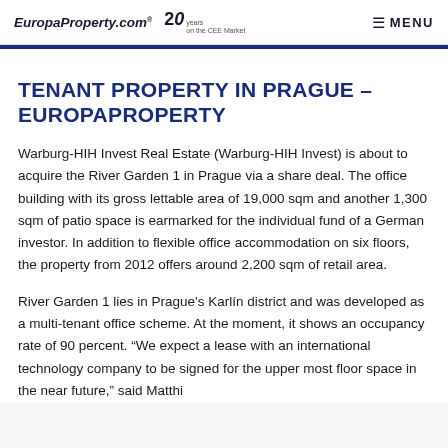EuropaProperty.com® 20 years on the CEE Market  MENU
TENANT PROPERTY IN PRAGUE – EUROPAPROPERTY
Warburg-HIH Invest Real Estate (Warburg-HIH Invest) is about to acquire the River Garden 1 in Prague via a share deal. The office building with its gross lettable area of 19,000 sqm and another 1,300 sqm of patio space is earmarked for the individual fund of a German investor. In addition to flexible office accommodation on six floors, the property from 2012 offers around 2,200 sqm of retail area.
River Garden 1 lies in Prague's Karlín district and was developed as a multi-tenant office scheme. At the moment, it shows an occupancy rate of 90 percent. "We expect a lease with an international technology company to be signed for the upper most floor space in the near future," said Matthi...